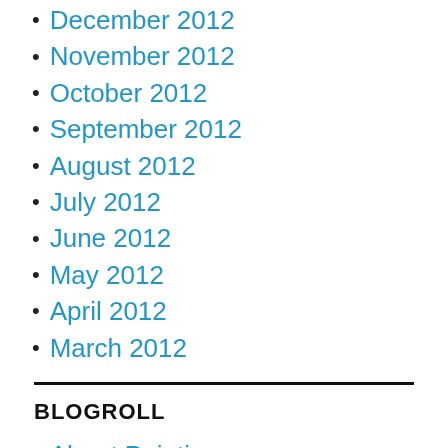December 2012
November 2012
October 2012
September 2012
August 2012
July 2012
June 2012
May 2012
April 2012
March 2012
BLOGROLL
About Painting
All Mesopotamia